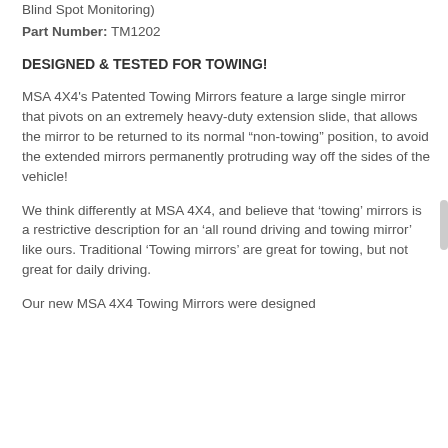Blind Spot Monitoring)
Part Number: TM1202
DESIGNED & TESTED FOR TOWING!
MSA 4X4's Patented Towing Mirrors feature a large single mirror that pivots on an extremely heavy-duty extension slide, that allows the mirror to be returned to its normal “non-towing” position, to avoid the extended mirrors permanently protruding way off the sides of the vehicle!
We think differently at MSA 4X4, and believe that ‘towing’ mirrors is a restrictive description for an ‘all round driving and towing mirror’ like ours. Traditional ‘Towing mirrors’ are great for towing, but not great for daily driving.
Our new MSA 4X4 Towing Mirrors were designed